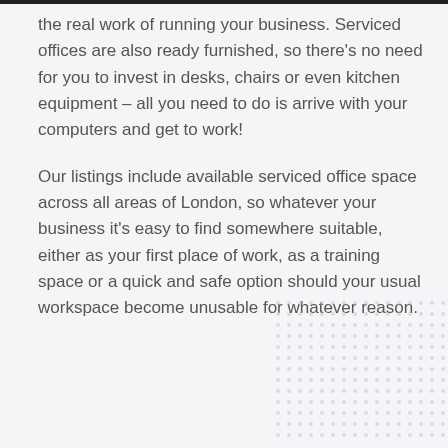the real work of running your business. Serviced offices are also ready furnished, so there's no need for you to invest in desks, chairs or even kitchen equipment – all you need to do is arrive with your computers and get to work!
Our listings include available serviced office space across all areas of London, so whatever your business it's easy to find somewhere suitable, either as your first place of work, as a training space or a quick and safe option should your usual workspace become unusable for whatever reason.
[Figure (illustration): Decorative dot grid pattern in light grey, positioned in the bottom-right corner of the page]